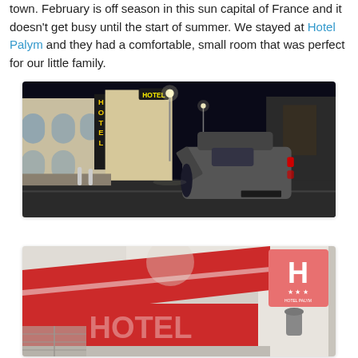town. February is off season in this sun capital of France and it doesn't get busy until the start of summer. We stayed at Hotel Palym and they had a comfortable, small room that was perfect for our little family.
[Figure (photo): Night-time street scene showing a narrow French town street with hotel signs lit up in yellow and white neon, a car with a roof box parked with its door open, and a person standing beside it. Buildings with arched windows are visible on the left.]
[Figure (photo): Daytime close-up of a hotel facade showing a large red and white hotel sign with 'HOTEL' text, a pink square sign with the letter H and three stars, and a wall-mounted light fixture. Additional building details visible in the background.]